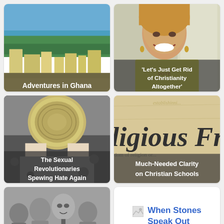[Figure (photo): Aerial view of Ghana cityscape with coastline and buildings]
Adventures in Ghana
[Figure (photo): Woman smiling, wearing yellow shirt with 'VOTE' text]
'Let's Just Get Rid of Christianity Altogether'
[Figure (photo): Person holding up Wimbledon trophy plate above their head]
The Sexual Revolutionaries Spewing Hate Again
[Figure (photo): Old parchment document with handwritten text showing 'ligious Free']
Much-Needed Clarity on Christian Schools
[Figure (photo): Black and white old family photo with several people]
Marriage, Family and
[Figure (illustration): Broken image icon with text 'When Stones Speak Out']
When Stones Speak Out